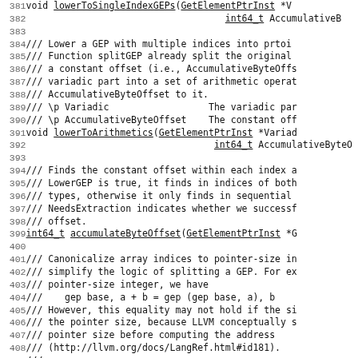Source code listing, lines 381-411, showing C++ function declarations and documentation comments for lowerToSingleIndexGEPs, lowerToArithmetics, accumulateByteOffset, and related canonicalization logic.